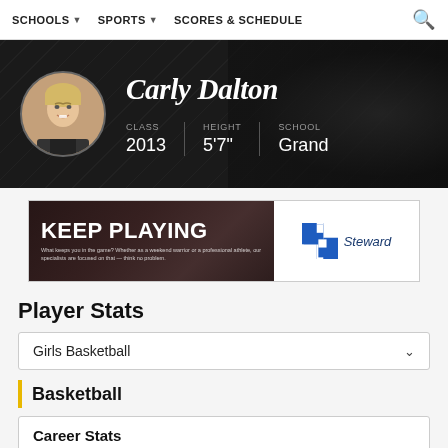SCHOOLS  SPORTS  SCORES & SCHEDULE
Carly Dalton
CLASS 2013  HEIGHT 5'7"  SCHOOL Grand
[Figure (infographic): Keep Playing advertisement with Steward Health Care logo]
Player Stats
Girls Basketball
Basketball
Career Stats